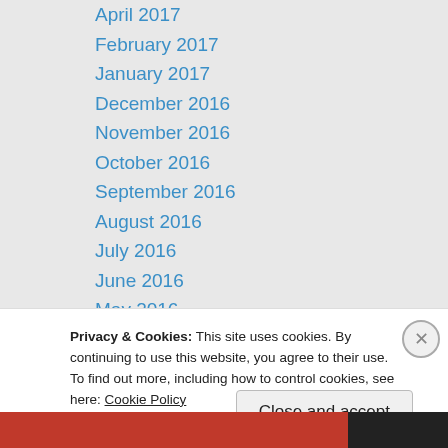April 2017
February 2017
January 2017
December 2016
November 2016
October 2016
September 2016
August 2016
July 2016
June 2016
May 2016
April 2016
March 2016
February 2016
Privacy & Cookies: This site uses cookies. By continuing to use this website, you agree to their use.
To find out more, including how to control cookies, see here: Cookie Policy
Close and accept